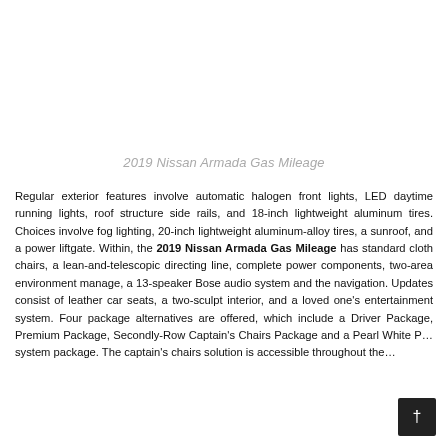2019 Nissan Armada Gas Mileage
Regular exterior features involve automatic halogen front lights, LED daytime running lights, roof structure side rails, and 18-inch lightweight aluminum tires. Choices involve fog lighting, 20-inch lightweight aluminum-alloy tires, a sunroof, and a power liftgate. Within, the 2019 Nissan Armada Gas Mileage has standard cloth chairs, a lean-and-telescopic directing line, complete power components, two-area environment manage, a 13-speaker Bose audio system and the navigation. Updates consist of leather car seats, a two-sculpt interior, and a loved one's entertainment system. Four package alternatives are offered, which include a Driver Package, Premium Package, Secondly-Row Captain's Chairs Package and a Pearl White P… system package. The captain's chairs solution is accessible throughout the…